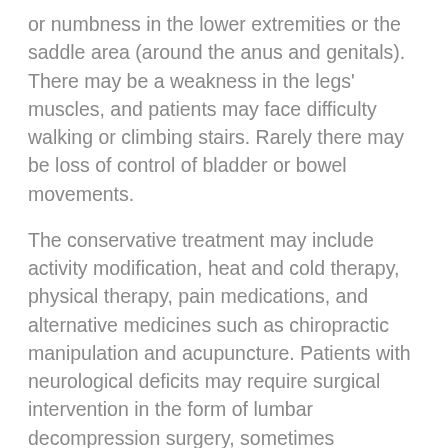or numbness in the lower extremities or the saddle area (around the anus and genitals). There may be a weakness in the legs' muscles, and patients may face difficulty walking or climbing stairs. Rarely there may be loss of control of bladder or bowel movements.
The conservative treatment may include activity modification, heat and cold therapy, physical therapy, pain medications, and alternative medicines such as chiropractic manipulation and acupuncture. Patients with neurological deficits may require surgical intervention in the form of lumbar decompression surgery, sometimes combined with lumbar fusion surgery.
The sciatic nerve is the largest nerve in the human body, formed by the L4, L5, S1, S2, and S3 nerve roots in the lower spine. The nerve roots may get compressed or irritated as they exit the vertebral column. The compression of the roots or the nerve may lead to the symptoms of sciatica.